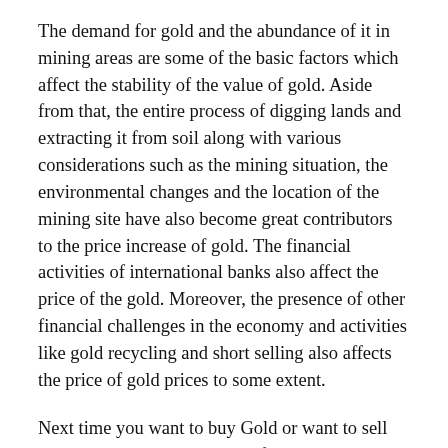The demand for gold and the abundance of it in mining areas are some of the basic factors which affect the stability of the value of gold. Aside from that, the entire process of digging lands and extracting it from soil along with various considerations such as the mining situation, the environmental changes and the location of the mining site have also become great contributors to the price increase of gold. The financial activities of international banks also affect the price of the gold. Moreover, the presence of other financial challenges in the economy and activities like gold recycling and short selling also affects the price of gold prices to some extent.
Next time you want to buy Gold or want to sell your jewelry, it would be helpful tip to check out the current value of gold. This tactic would be to ensure that you would be able to get the correct amount of money for the gold that you are to sell. Trying to get involved in the gold market is not exactly rocket science; you can be successful even if you do not possess a degree in